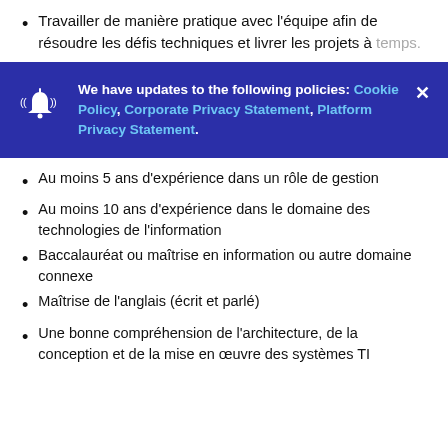Travailler de manière pratique avec l'équipe afin de résoudre les défis techniques et livrer les projets à temps.
[Figure (screenshot): Cookie/privacy policy update notification banner with blue background, bell icon, text about updates to Cookie Policy, Corporate Privacy Statement, Platform Privacy Statement, and a close (×) button.]
Au moins 5 ans d'expérience dans un rôle de gestion
Au moins 10 ans d'expérience dans le domaine des technologies de l'information
Baccalauréat ou maîtrise en information ou autre domaine connexe
Maîtrise de l'anglais (écrit et parlé)
Une bonne compréhension de l'architecture, de la conception et de la mise en œuvre des systèmes TI